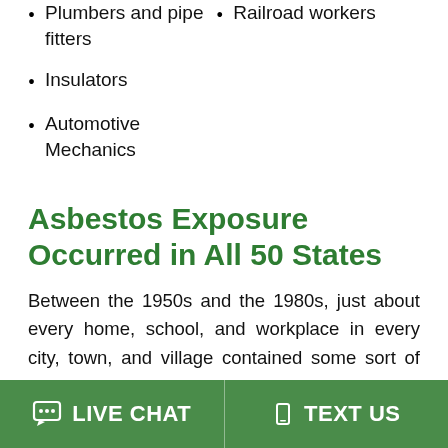Plumbers and pipe fitters
Railroad workers
Insulators
Automotive Mechanics
Asbestos Exposure Occurred in All 50 States
Between the 1950s and the 1980s, just about every home, school, and workplace in every city, town, and village contained some sort of asbestos material. We can work with you to help identify the asbestos in the worksites where you worked and the schools where you learned. Many of these sites have been sites where prior clients and employees were exposed to asbestos. Please click on a state on our
LIVE CHAT   TEXT US